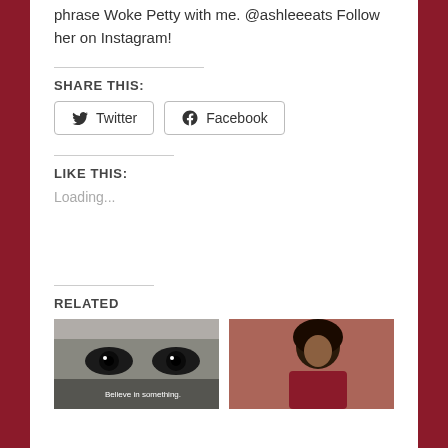phrase Woke Petty with me. @ashleeeats Follow her on Instagram!
SHARE THIS:
Twitter  Facebook
LIKE THIS:
Loading...
RELATED
[Figure (photo): Close-up black and white photo of eyes with text 'Believe in something' at the bottom]
[Figure (photo): Photo of a man with an afro hairstyle wearing a red jersey]